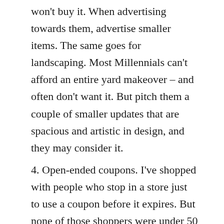won't buy it. When advertising towards them, advertise smaller items. The same goes for landscaping. Most Millennials can't afford an entire yard makeover – and often don't want it. But pitch them a couple of smaller updates that are spacious and artistic in design, and they may consider it.
4. Open-ended coupons. I've shopped with people who stop in a store just to use a coupon before it expires. But none of those shoppers were under 50 years old. Very few Millennials will go out of their way simply to use up the piece of paper you mailed or emailed them. If you want to attract young people, only offer deals you're willing to honor at any time – then when they do need a product, they'll choose your store over the competition.